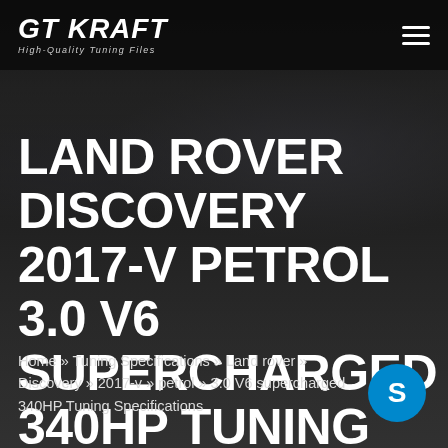[Figure (screenshot): GT KRAFT website header screenshot showing logo with tagline 'High-Quality Tuning Files' and hamburger menu icon on dark background]
LAND ROVER DISCOVERY 2017-V PETROL 3.0 V6 SUPERCHARGED 340HP TUNING SPECIFICATIONS
Home » Tuning Specifications » Land rover » Discovery » 2017-v » petrol » 3.0 V6 supercharged 340HP Tuning Specifications